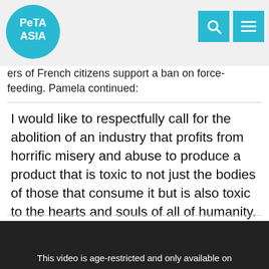PETA ASIA
ers of French citizens support a ban on force-feeding. Pamela continued:
I would like to respectfully call for the abolition of an industry that profits from horrific misery and abuse to produce a product that is toxic to not just the bodies of those that consume it but is also toxic to the hearts and souls of all of humanity.
[Figure (screenshot): Embedded YouTube video, age-restricted, showing message: This video is age-restricted and only available on]